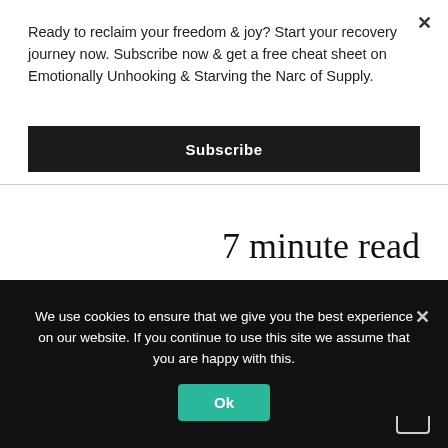Ready to reclaim your freedom & joy? Start your recovery journey now. Subscribe now & get a free cheat sheet on Emotionally Unhooking & Starving the Narc of Supply.
Subscribe
7 minute read
Narcissistic abuse and perfectionism often go hand in hand. As a common legacy issue understanding how
We use cookies to ensure that we give you the best experience on our website. If you continue to use this site we assume that you are happy with this.
Ok